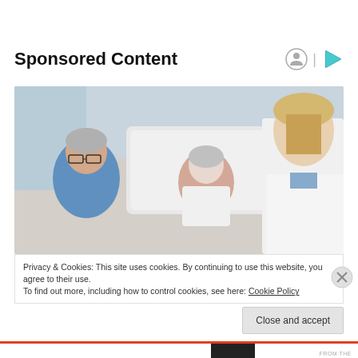Sponsored Content
[Figure (photo): An elderly woman lying in a hospital bed with a male companion beside her, and a female doctor in a white coat speaking with them.]
Privacy & Cookies: This site uses cookies. By continuing to use this website, you agree to their use.
To find out more, including how to control cookies, see here: Cookie Policy